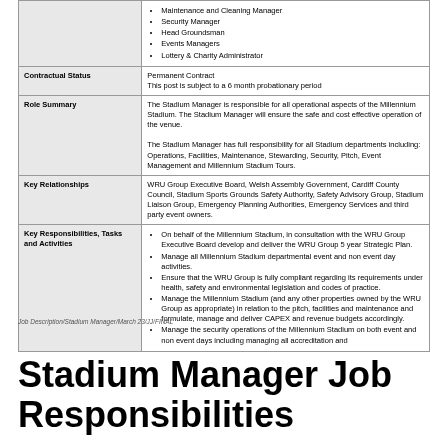| Field | Details |
| --- | --- |
| Responsible for | Maintenance and Cleaning Manager
Security Manager
Head Groundsman
Events Managers
Lottery & Charity Administrator |
| Contractual Status | Permanent Contract
This post is subject to a 6 month probationary period |
| Role Summary | The Stadium Manager is responsible for all operational aspects of the Millennium Stadium. The Stadium Manager will ensure the safe and cost effective operation of the venue.

The Stadium Manager has full responsibility for all Stadium departments including: Operations, Facilities, Maintenance, Stewarding, Security, Pitch, Event Management and Millennium Stadium Tours. |
| Key Relationships | WRU Group Executive Board, Welsh Assembly Government, Cardiff County Council, Stadium Sports Grounds Safety Authority, Safety Advisory Group, Stadium Liaison Group, Emergency Planning Authorities, Emergency Services and third party event owners. |
| Key Responsibilities, Tasks and Activities | On behalf of the Millennium Stadium, in consultation with the WRU Group Executive Board develop and deliver the WRU Group 5 year Strategic Plan.
Manage all Millennium Stadium departmental event and non event day activities.
Ensure that the WRU Group is fully compliant regarding its requirements under health, safety and environmental legislation and codes of practice.
Manage the Millennium Stadium (and any other properties owned by the WRU Group as appropriate) in relation to the pitch, facilities and maintenance and formulate, manage and deliver CAPEX and revenue budgets accordingly.
Manage the security operations of the Millennium Stadium on both event and non event days including managing all accreditation and |
Job Description/Stadium Manager/March 23/JJ/FINAL
Stadium Manager Job Responsibilities